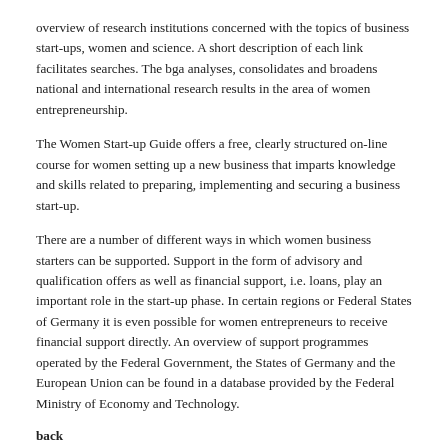overview of research institutions concerned with the topics of business start-ups, women and science. A short description of each link facilitates searches. The bga analyses, consolidates and broadens national and international research results in the area of women entrepreneurship.
The Women Start-up Guide offers a free, clearly structured on-line course for women setting up a new business that imparts knowledge and skills related to preparing, implementing and securing a business start-up.
There are a number of different ways in which women business starters can be supported. Support in the form of advisory and qualification offers as well as financial support, i.e. loans, play an important role in the start-up phase. In certain regions or Federal States of Germany it is even possible for women entrepreneurs to receive financial support directly. An overview of support programmes operated by the Federal Government, the States of Germany and the European Union can be found in a database provided by the Federal Ministry of Economy and Technology.
back
Advisory services